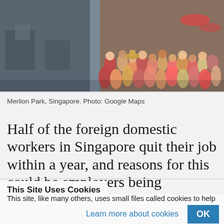[Figure (photo): Crowd of people at Merlion Park, Singapore. Outdoor scene with people gathered near waterfront.]
Merlion Park, Singapore. Photo: Google Maps
Half of the foreign domestic workers in Singapore quit their job within a year, and reasons for this could be employers being
This Site Uses Cookies
This site, like many others, uses small files called cookies to help us improve and customize your experience. Learn more about how we use cookies in our cookie policy.
Learn more about cookies   OK